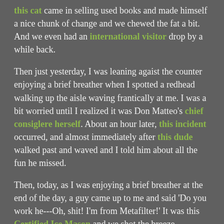this cat came in selling used books and made himself a nice chunk of change and we chewed the fat a bit. And we even had an international visitor drop by a while back.
Then just yesterday, I was leaning agaist the counter enjoying a brief breather when I spotted a redhead walking up the aisle waving frantically at me. I was a bit worried until I realized it was Don Matteo's chief consiglere herself. About an hour later, this incident occurred, and almost immediately after this dude walked past and waved and I told him about all the fun he missed.
Then, today, as I was enjoying a brief breather at the end of the day, a guy came up to me and said 'Do you work he---Oh, shit! I'm from Metafilter!' It was this Certified Ice Mason and we shot the breeze.
That's quite a spate of MeFi Meatspace Invasion, people.